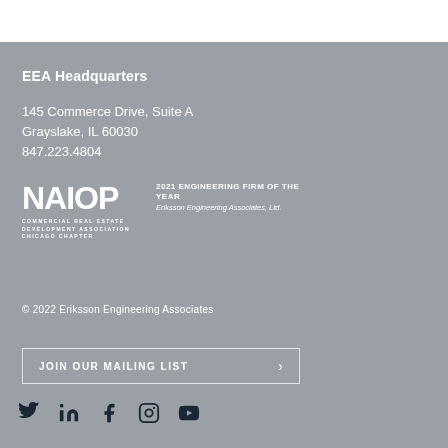EEA Headquarters
145 Commerce Drive, Suite A
Grayslake, IL 60030
847.223.4804
[Figure (logo): NAIOP Commercial Real Estate Development Association Chicago Chapter logo with 2021 Engineering Firm of the Year award — Eriksson Engineering Associates, Ltd.]
© 2022 Eriksson Engineering Associates
JOIN OUR MAILING LIST
[Figure (logo): Social media icons: Twitter, LinkedIn, Facebook, Instagram, YouTube]